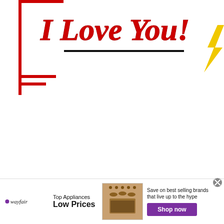[Figure (illustration): Partial view of a greeting card or banner with red decorative corner bracket on the left side and bold red text 'I Love You!' with a black underline, and a yellow lightning bolt or decorative element on the upper right]
[Figure (illustration): Wayfair advertisement banner: Wayfair logo on left, 'Top Appliances Low Prices' text, image of a stove/range appliance, text 'Save on best selling brands that live up to the hype', and a purple 'Shop now' button. A gray close button (X) appears in upper right of the ad.]